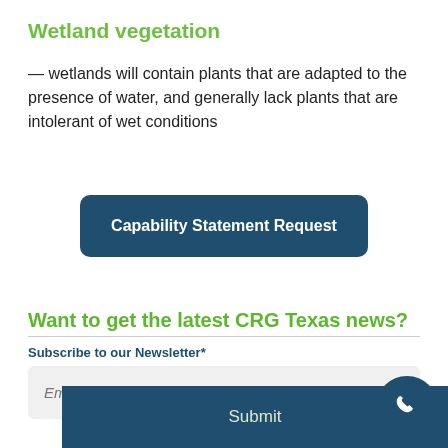Wetland vegetation
— wetlands will contain plants that are adapted to the presence of water, and generally lack plants that are intolerant of wet conditions
[Figure (other): Capability Statement Request button — a dark teal rounded rectangle button with bold white text]
Want to get the latest CRG Texas news?
Subscribe to our Newsletter*
[Figure (other): Email input field with placeholder text 'Email' and a Submit button bar at the bottom with a phone icon circle]